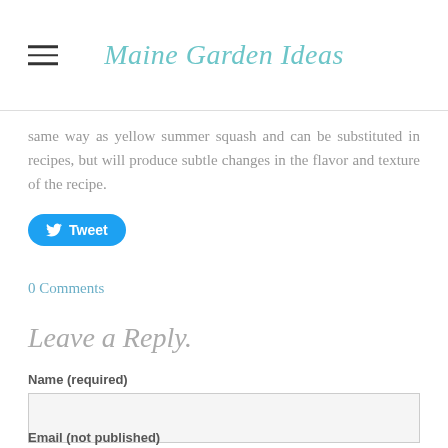Maine Garden Ideas
same way as yellow summer squash and can be substituted in recipes, but will produce subtle changes in the flavor and texture of the recipe.
[Figure (other): Tweet button with Twitter bird icon]
0 Comments
Leave a Reply.
Name (required)
Email (not published)